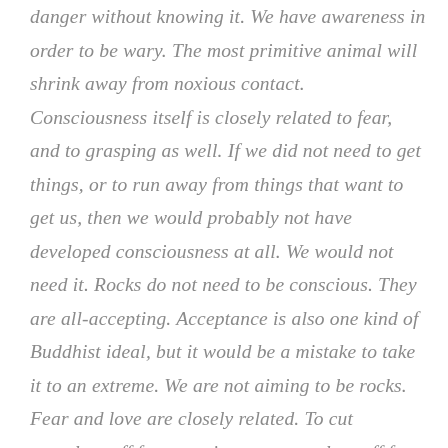danger without knowing it. We have awareness in order to be wary. The most primitive animal will shrink away from noxious contact. Consciousness itself is closely related to fear, and to grasping as well. If we did not need to get things, or to run away from things that want to get us, then we would probably not have developed consciousness at all. We would not need it. Rocks do not need to be conscious. They are all-accepting. Acceptance is also one kind of Buddhist ideal, but it would be a mistake to take it to an extreme. We are not aiming to be rocks. Fear and love are closely related. To cut ourselves off from one is to cut ourselves off from the other. Suppressing awareness of our own vulnerability, we inevitably and correspondingly lose sensitivity for those